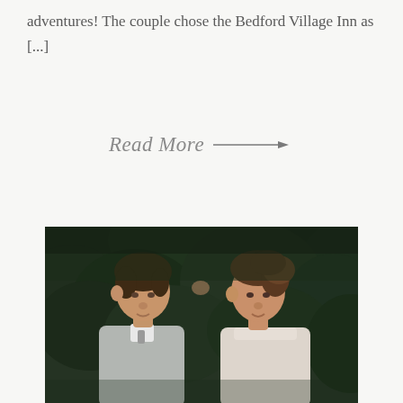adventures! The couple chose the Bedford Village Inn as [...]
Read More →
[Figure (photo): A romantic close-up photograph of a bride and groom facing each other with foreheads nearly touching, set against a lush dark green foliage background. The groom is on the left in a light grey suit, the bride on the right in a white dress with an updo hairstyle.]